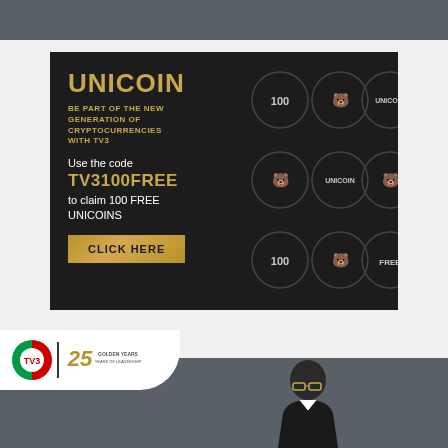[Figure (infographic): Unicoin cryptocurrency advertisement on dark background with gold text. Shows UNICOIN title, tagline 'BE PART OF THE NEW GENERATION OF CRYPTOCURRENCIES WITH TV3', promo code TV3100FREE to claim 100 free unicoins, CLICK HERE button, and a grid of circles showing coin icons with numbers 100, UNICOIN, and FREE labels.]
[Figure (logo): TV3 Ghana logo with 25 Years of Leadership badge, and a partial view of a person (news presenter) against a gray background.]